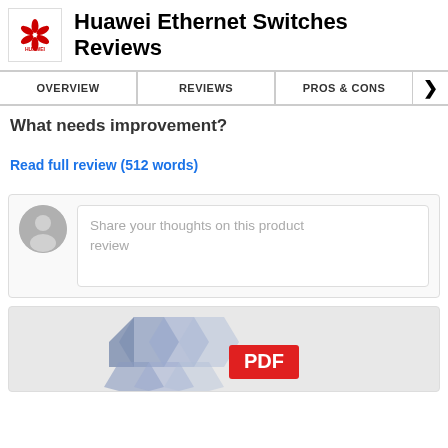Huawei Ethernet Switches Reviews
OVERVIEW | REVIEWS | PROS & CONS
What needs improvement?
Read full review (512 words)
Share your thoughts on this product review
[Figure (screenshot): PDF document thumbnail with hexagonal graphic and red PDF label]